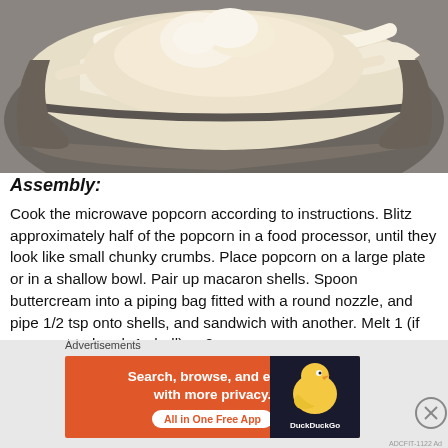[Figure (photo): Close-up photo of white buttercream or dough mixture in a metal mixing bowl]
Assembly:
Cook the microwave popcorn according to instructions. Blitz approximately half of the popcorn in a food processor, until they look like small chunky crumbs. Place popcorn on a large plate or in a shallow bowl. Pair up macaron shells. Spoon buttercream into a piping bag fitted with a round nozzle, and pipe 1/2 tsp onto shells, and sandwich with another. Melt 1 (if you want to brush 1 shell) or 2
[Figure (other): DuckDuckGo advertisement banner: Search, browse, and email with more privacy. All in One Free App]